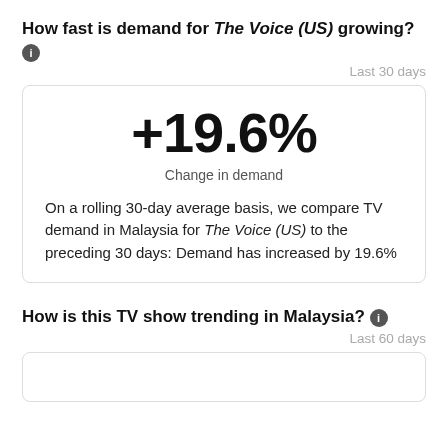How fast is demand for The Voice (US) growing?
Last 30 days
+19.6%
Change in demand
On a rolling 30-day average basis, we compare TV demand in Malaysia for The Voice (US) to the preceding 30 days: Demand has increased by 19.6%
How is this TV show trending in Malaysia?
Last 60 days